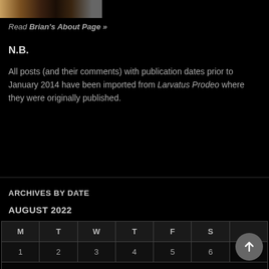[Figure (photo): Partial photo strip at top showing a checkered or plaid pattern in dark brown/amber tones]
Read Brian's About Page »
N.B.
All posts (and their comments) with publication dates prior to January 2014 have been imported from Larvatus Prodeo where they were originally published.
ARCHIVES BY DATE
AUGUST 2022
| M | T | W | T | F | S |  |
| --- | --- | --- | --- | --- | --- | --- |
| 1 | 2 | 3 | 4 | 5 | 6 | 7 |